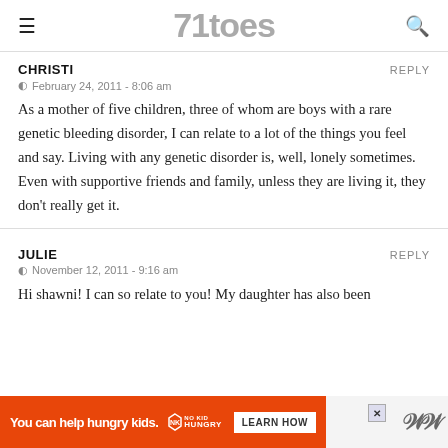71toes
CHRISTI
REPLY
February 24, 2011 - 8:06 am
As a mother of five children, three of whom are boys with a rare genetic bleeding disorder, I can relate to a lot of the things you feel and say. Living with any genetic disorder is, well, lonely sometimes. Even with supportive friends and family, unless they are living it, they don't really get it.
JULIE
REPLY
November 12, 2011 - 9:16 am
Hi shawni! I can so relate to you! My daughter has also been di...
[Figure (screenshot): Orange advertisement banner: 'You can help hungry kids.' No Kid Hungry logo and LEARN HOW button]